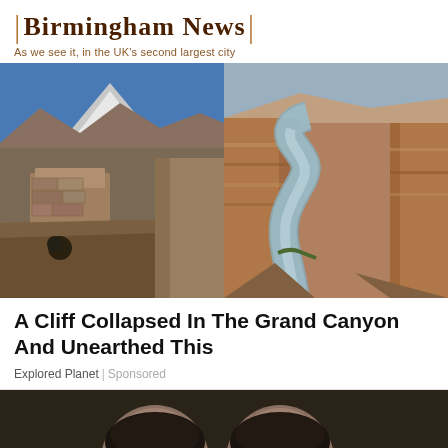Birmingham News | As we see it, in the UK's second largest city
[Figure (photo): Two side-by-side landscape photos: left shows rocky cliff formations with snow-capped mountains in background; right shows a deep canyon with a river winding through red rock walls viewed from above.]
A Cliff Collapsed In The Grand Canyon And Unearthed This
Explored Planet | Sponsored
[Figure (photo): Partial view of a person's face at the bottom of the page, cropped.]